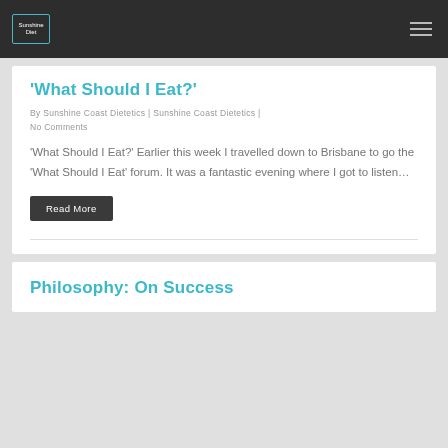Sunshine Coast Dietetics
‘What Should I Eat?’
By Sunshine Coast Dietetics | Sunshine Coast Dietetics | No Comments
‘What Should I Eat?’ Earlier this week I travelled down to Brisbane to go the ‘What Should I Eat’ forum. It was a fantastic evening where I got to listen…
Read More
Philosophy: On Success